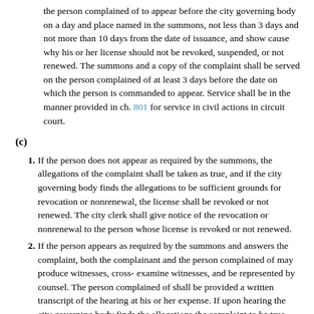the person complained of to appear before the city governing body on a day and place named in the summons, not less than 3 days and not more than 10 days from the date of issuance, and show cause why his or her license should not be revoked, suspended, or not renewed. The summons and a copy of the complaint shall be served on the person complained of at least 3 days before the date on which the person is commanded to appear. Service shall be in the manner provided in ch. 801 for service in civil actions in circuit court.
(c)
1. If the person does not appear as required by the summons, the allegations of the complaint shall be taken as true, and if the city governing body finds the allegations to be sufficient grounds for revocation or nonrenewal, the license shall be revoked or not renewed. The city clerk shall give notice of the revocation or nonrenewal to the person whose license is revoked or not renewed.
2. If the person appears as required by the summons and answers the complaint, both the complainant and the person complained of may produce witnesses, cross-examine witnesses, and be represented by counsel. The person complained of shall be provided a written transcript of the hearing at his or her expense. If upon hearing the city governing body finds the allegations the complaint to be true, and if the city governing body